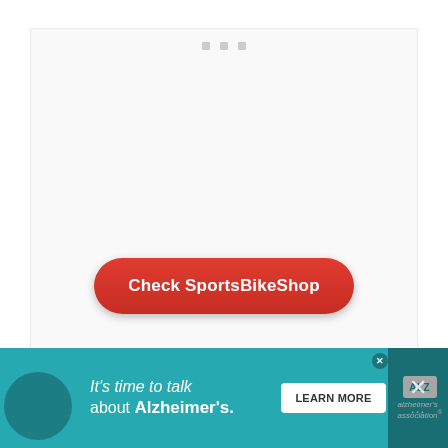[Figure (screenshot): Web page screenshot showing a light gray card area with three small gray square dots/icons near the top center, and a red rounded button labeled 'Check SportsBikeShop' in the center-lower portion of the card.]
Check SportsBikeShop
[Figure (infographic): Teal/cyan advertisement banner for Alzheimer's Association reading "It's time to talk about Alzheimer's." with a LEARN MORE button, Alzheimer's Association logo, a close X button, and dark overlay sections on left and right edges.]